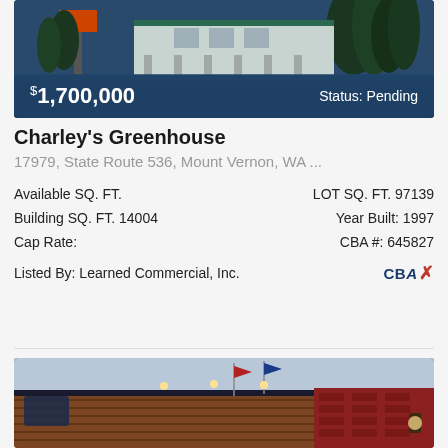[Figure (photo): Exterior photo of Charley's Greenhouse commercial property with a blue toned building, trees, and parking area. Price overlay shows $1,700,000 and Status: Pending.]
Charley's Greenhouse
17979, State Route 536, Mount Vernon, WA ...
Available SQ. FT.
LOT SQ. FT. 97139
Building SQ. FT. 14004
Year Built: 1997
Cap Rate:
CBA #: 645827
Listed By: Learned Commercial, Inc.
[Figure (photo): Exterior photo of a commercial building with wood siding, flags, and brick detail at lower right.]